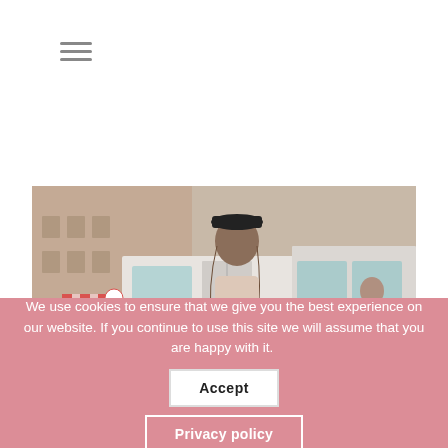[Figure (other): Hamburger menu icon (three horizontal grey lines)]
[Figure (photo): A young woman with long brown hair wearing a black captain's hat and a light pink jacket, standing in front of a tram/bus. City street scene visible in the background with a striped awning and buildings.]
We use cookies to ensure that we give you the best experience on our website. If you continue to use this site we will assume that you are happy with it.
Accept
Privacy policy